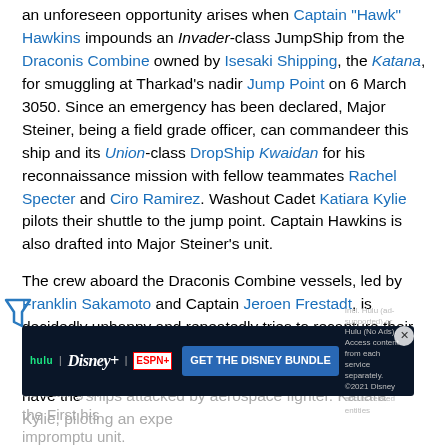an unforeseen opportunity arises when Captain "Hawk" Hawkins impounds an Invader-class JumpShip from the Draconis Combine owned by Isesaki Shipping, the Katana, for smuggling at Tharkad's nadir Jump Point on 6 March 3050. Since an emergency has been declared, Major Steiner, being a field grade officer, can commandeer this ship and its Union-class DropShip Kwaidan for his reconnaissance mission with fellow teammates Rachel Specter and Ciro Ramirez. Washout Cadet Katiara Kylie pilots their shuttle to the jump point. Captain Hawkins is also drafted into Major Steiner's unit.
The crew aboard the Draconis Combine vessels, led by Franklin Sakamoto and Captain Jeroen Frestadt, is decidedly unhappy and repeatedly tries to recapture their ships. At one point Franklin Sakamoto manages to inform Kurita mercenaries about their next jump target, only to have the ships attacked by aerospace fighter. Katiara Kylie, piloting an experienced... defeating... in the First... his impromptu unit.
[Figure (other): Advertisement banner for Disney Bundle (Hulu, Disney+, ESPN+) with dark background and 'GET THE DISNEY BUNDLE' call to action button]